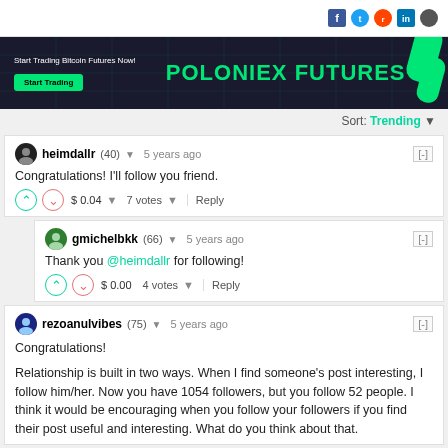[Figure (screenshot): Social media share icons (Facebook, Twitter, Reddit, LinkedIn)]
[Figure (screenshot): Poloniex Futures advertisement banner with dark background and green text]
Sort: Trending
heimdallr (40) ▼   5 years ago   [-]
Congratulations! I'll follow you friend.
$ 0.04 ▼   7 votes ▼   Reply
gmichelbkk (66) ▼   5 years ago   [-]
Thank you @heimdallr for following!
$ 0.00   4 votes ▼   Reply
rezoanulvibes (75) ▼   5 years ago   [-]
Congratulations!

Relationship is built in two ways. When I find someone's post interesting, I follow him/her. Now you have 1054 followers, but you follow 52 people. I think it would be encouraging when you follow your followers if you find their post useful and interesting. What do you think about that.